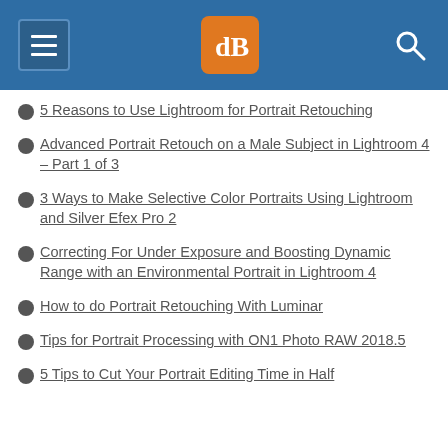dPS navigation header
5 Reasons to Use Lightroom for Portrait Retouching
Advanced Portrait Retouch on a Male Subject in Lightroom 4 – Part 1 of 3
3 Ways to Make Selective Color Portraits Using Lightroom and Silver Efex Pro 2
Correcting For Under Exposure and Boosting Dynamic Range with an Environmental Portrait in Lightroom 4
How to do Portrait Retouching With Luminar
Tips for Portrait Processing with ON1 Photo RAW 2018.5
5 Tips to Cut Your Portrait Editing Time in Half